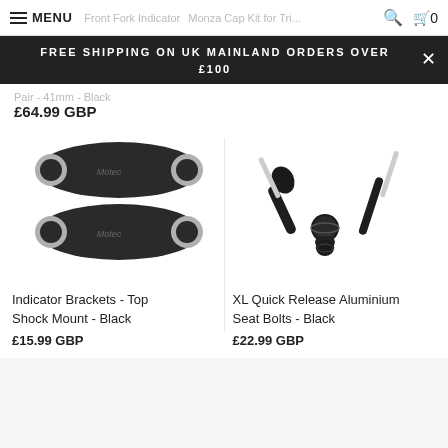MENU | Free Fork Indicator | Monza Cap Kit for Tri... | search | cart 0
FREE SHIPPING ON UK MAINLAND ORDERS OVER £100
Pair - 41mm - Black
£64.99 GBP
[Figure (photo): Two black oval-shaped indicator brackets with two holes each, metal motorcycle parts]
[Figure (photo): XL Quick Release Aluminium Seat Bolts in black, T-bar style tool with two prongs]
Indicator Brackets - Top Shock Mount - Black
£15.99 GBP
XL Quick Release Aluminium Seat Bolts - Black
£22.99 GBP